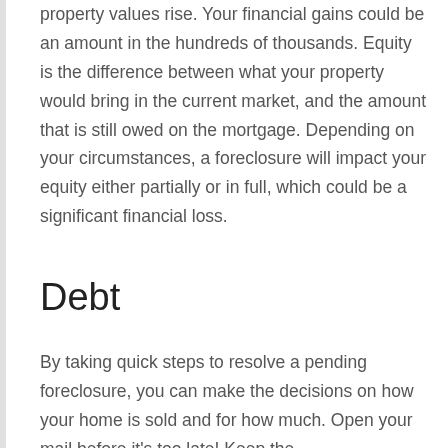property values rise. Your financial gains could be an amount in the hundreds of thousands. Equity is the difference between what your property would bring in the current market, and the amount that is still owed on the mortgage. Depending on your circumstances, a foreclosure will impact your equity either partially or in full, which could be a significant financial loss.
Debt
By taking quick steps to resolve a pending foreclosure, you can make the decisions on how your home is sold and for how much. Open your mail before it's too late! Keep the